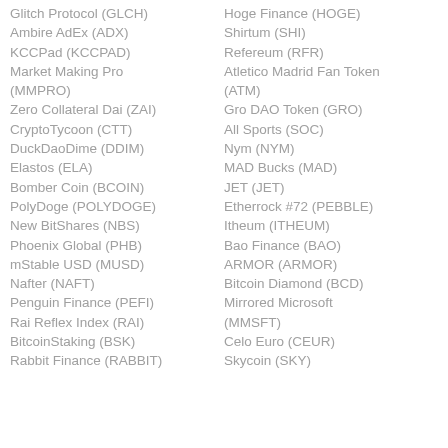Glitch Protocol (GLCH)
Ambire AdEx (ADX)
KCCPad (KCCPAD)
Market Making Pro (MMPRO)
Zero Collateral Dai (ZAI)
CryptoTycoon (CTT)
DuckDaoDime (DDIM)
Elastos (ELA)
Bomber Coin (BCOIN)
PolyDoge (POLYDOGE)
New BitShares (NBS)
Phoenix Global (PHB)
mStable USD (MUSD)
Nafter (NAFT)
Penguin Finance (PEFI)
Rai Reflex Index (RAI)
BitcoinStaking (BSK)
Rabbit Finance (RABBIT)
Hoge Finance (HOGE)
Shirtum (SHI)
Refereum (RFR)
Atletico Madrid Fan Token (ATM)
Gro DAO Token (GRO)
All Sports (SOC)
Nym (NYM)
MAD Bucks (MAD)
JET (JET)
Etherrock #72 (PEBBLE)
Itheum (ITHEUM)
Bao Finance (BAO)
ARMOR (ARMOR)
Bitcoin Diamond (BCD)
Mirrored Microsoft (MMSFT)
Celo Euro (CEUR)
Skycoin (SKY)